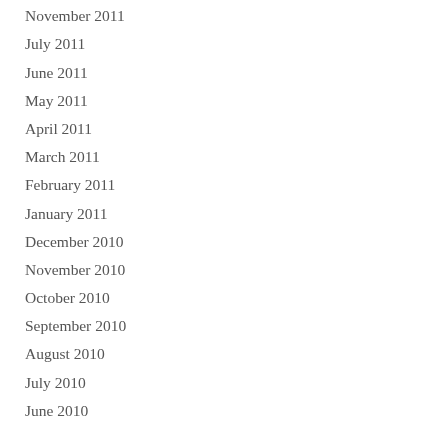November 2011
July 2011
June 2011
May 2011
April 2011
March 2011
February 2011
January 2011
December 2010
November 2010
October 2010
September 2010
August 2010
July 2010
June 2010